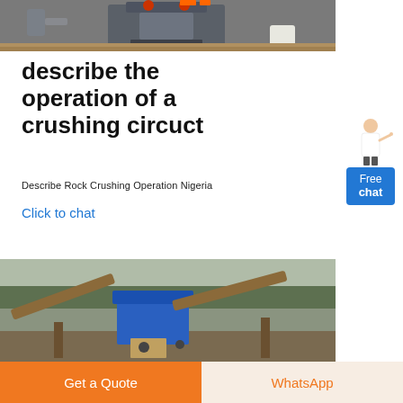[Figure (photo): Industrial crushing machine in a workshop setting, gray cone crusher with orange/red components on top]
describe the operation of a crushing circuct
Describe Rock Crushing Operation Nigeria
Click to chat
[Figure (photo): Outdoor rock crushing circuit operation in Nigeria, showing conveyor belts, machinery and equipment on site]
Get a Quote
WhatsApp